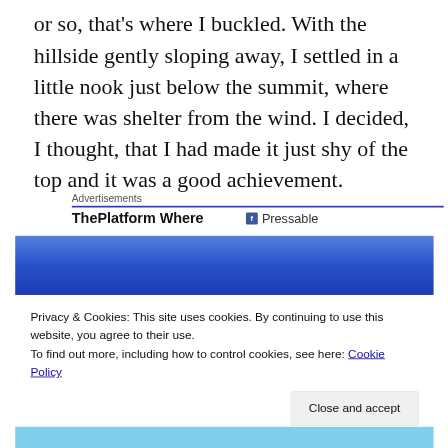or so, that's where I buckled. With the hillside gently sloping away, I settled in a little nook just below the summit, where there was shelter from the wind. I decided, I thought, that I had made it just shy of the top and it was a good achievement.
Advertisements
ThePlatform Where   Pressable
[Figure (screenshot): Blue advertisement banner area]
Privacy & Cookies: This site uses cookies. By continuing to use this website, you agree to their use.
To find out more, including how to control cookies, see here: Cookie Policy
Close and accept
[Figure (screenshot): Light blue bar at bottom of page]